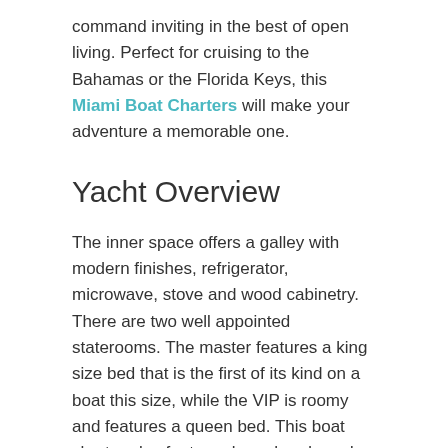command inviting in the best of open living. Perfect for cruising to the Bahamas or the Florida Keys, this Miami Boat Charters will make your adventure a memorable one.
Yacht Overview
The inner space offers a galley with modern finishes, refrigerator, microwave, stove and wood cabinetry. There are two well appointed staterooms. The master features a king size bed that is the first of its kind on a boat this size, while the VIP is roomy and features a queen bed. This boat charter also features large heads and plenty of storage space.
Click an Image Below to Expand